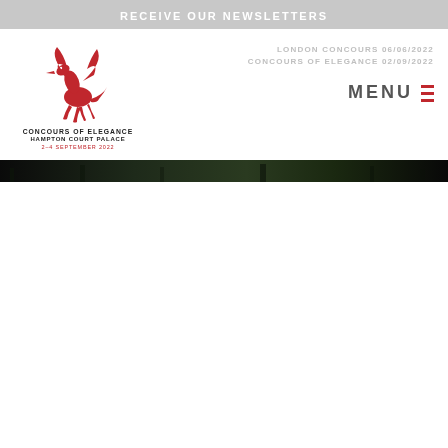RECEIVE OUR NEWSLETTERS
[Figure (logo): Concours of Elegance red pegasus logo with text: CONCOURS OF ELEGANCE, HAMPTON COURT PALACE, 2-4 SEPTEMBER 2022]
LONDON CONCOURS 06/06/2022
CONCOURS OF ELEGANCE 02/09/2022
MENU
[Figure (photo): Dark strip showing a blurred wooded/outdoor scene at the bottom of the navigation header]